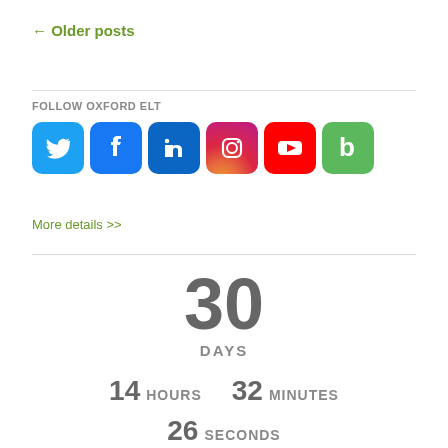← Older posts
FOLLOW OXFORD ELT
[Figure (infographic): Row of six social media icons: Twitter (blue bird), Facebook (blue f), LinkedIn (blue in), Instagram (gradient camera), YouTube (red play), Blogger (green b)]
More details >>
[Figure (infographic): Countdown timer showing 30 DAYS, 14 HOURS, 32 MINUTES, 26 SECONDS, UNTIL]